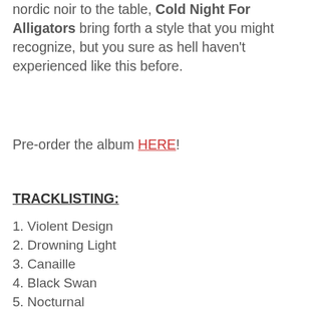nordic noir to the table, Cold Night For Alligators bring forth a style that you might recognize, but you sure as hell haven't experienced like this before.
Pre-order the album HERE!
TRACKLISTING:
1. Violent Design
2. Drowning Light
3. Canaille
4. Black Swan
5. Nocturnal
6. Entangled
7. Get Rid Of The Walls
8. Wilderness
9. The Proposition
10. Soulless City (feat. Andreas Bjulver Paarup of Cabal)